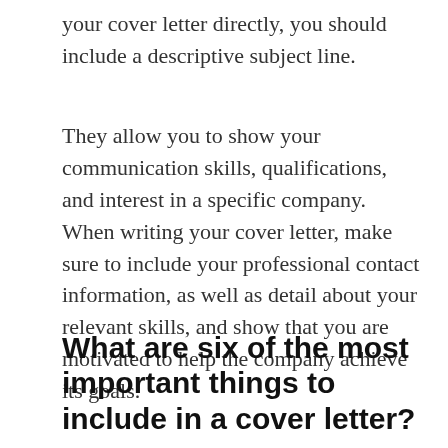your cover letter directly, you should include a descriptive subject line.
They allow you to show your communication skills, qualifications, and interest in a specific company. When writing your cover letter, make sure to include your professional contact information, as well as detail about your relevant skills, and show that you are motivated to help the company achieve its goals.
What are six of the most important things to include in a cover letter?